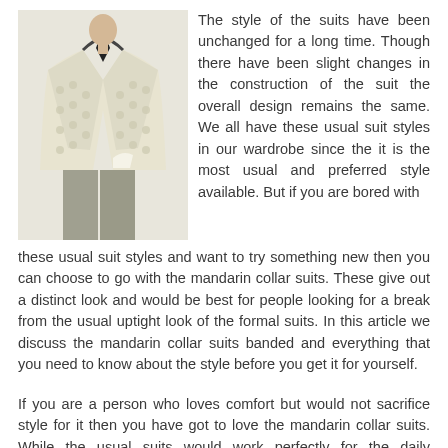[Figure (photo): A white/cream patterned mandarin collar suit jacket displayed on a mannequin with a black collar/tie visible.]
The style of the suits have been unchanged for a long time. Though there have been slight changes in the construction of the suit the overall design remains the same. We all have these usual suit styles in our wardrobe since the it is the most usual and preferred style available. But if you are bored with these usual suit styles and want to try something new then you can choose to go with the mandarin collar suits. These give out a distinct look and would be best for people looking for a break from the usual uptight look of the formal suits. In this article we discuss the mandarin collar suits banded and everything that you need to know about the style before you get it for yourself.
If you are a person who loves comfort but would not sacrifice style for it then you have got to love the mandarin collar suits. While the usual suits would work perfectly for the daily workwear you might find that you have looking